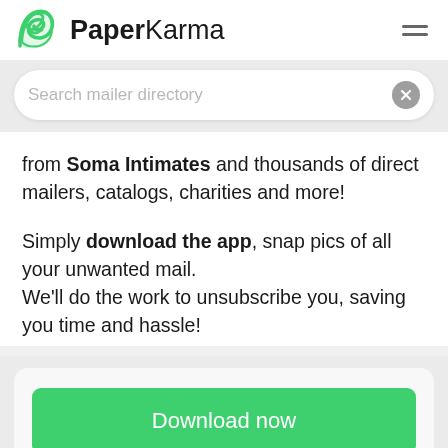PaperKarma
Search mailer directory
from Soma Intimates and thousands of direct mailers, catalogs, charities and more!
Simply download the app, snap pics of all your unwanted mail.
We'll do the work to unsubscribe you, saving you time and hassle!
Download now